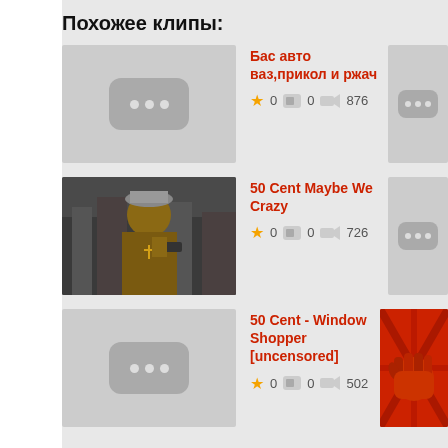Похожее клипы:
[Figure (screenshot): Thumbnail placeholder with three dots - first item]
Бас авто ваз,прикол и ржач
★ 0  0  876
[Figure (screenshot): Partial thumbnail on right - first row]
[Figure (photo): 50 Cent holding gun - movie/music video still]
50 Cent Maybe We Crazy
★ 0  0  726
[Figure (screenshot): Partial thumbnail on right - second row]
[Figure (screenshot): Thumbnail placeholder with three dots - third item]
50 Cent - Window Shopper [uncensored]
★ 0  0  502
[Figure (illustration): Metallica-style red fist album artwork - partial view]